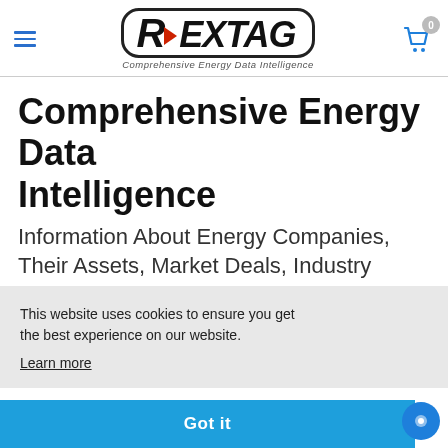[Figure (logo): Rextag logo with chevron mark and tagline 'Comprehensive Energy Data Intelligence']
Comprehensive Energy Data Intelligence
Information About Energy Companies, Their Assets, Market Deals, Industry
This website uses cookies to ensure you get the best experience on our website. Learn more
Got it